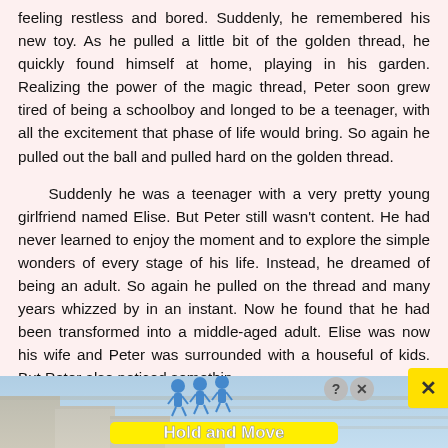feeling restless and bored. Suddenly, he remembered his new toy. As he pulled a little bit of the golden thread, he quickly found himself at home, playing in his garden. Realizing the power of the magic thread, Peter soon grew tired of being a schoolboy and longed to be a teenager, with all the excitement that phase of life would bring. So again he pulled out the ball and pulled hard on the golden thread.

Suddenly he was a teenager with a very pretty young girlfriend named Elise. But Peter still wasn't content. He had never learned to enjoy the moment and to explore the simple wonders of every stage of his life. Instead, he dreamed of being an adult. So again he pulled on the thread and many years whizzed by in an instant. Now he found that he had been transformed into a middle-aged adult. Elise was now his wife and Peter was surrounded with a houseful of kids. But Peter also noticed somethin
[Figure (infographic): Advertisement banner at the bottom showing a staircase background with blue human figure icons and a yellow 'Hold and Move' label. Has close (x) and help (?) buttons in top right.]